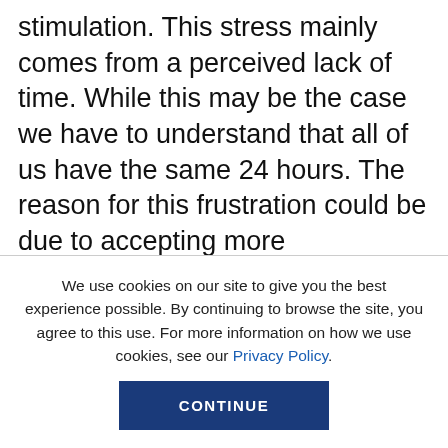stimulation. This stress mainly comes from a perceived lack of time. While this may be the case we have to understand that all of us have the same 24 hours. The reason for this frustration could be due to accepting more responsibilities than we can handle which leads to frustration, stress and lack of control. It is important to constantly reevaluate and weigh the costs of accepting more than we can chew both in our work and personal lives. Ultimately peace of mind is more important than over committing resulting in stress.
We use cookies on our site to give you the best experience possible. By continuing to browse the site, you agree to this use. For more information on how we use cookies, see our Privacy Policy.
CONTINUE